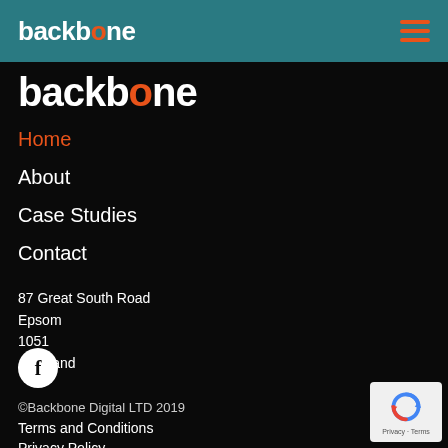backbone
backbone
Home
About
Case Studies
Contact
87 Great South Road
Epsom
1051
Auckland
[Figure (logo): Facebook icon - white circle with letter f]
©Backbone Digital LTD 2019
Terms and Conditions
Privacy Policy
[Figure (logo): Google reCAPTCHA badge with reCAPTCHA logo and Privacy - Terms text]